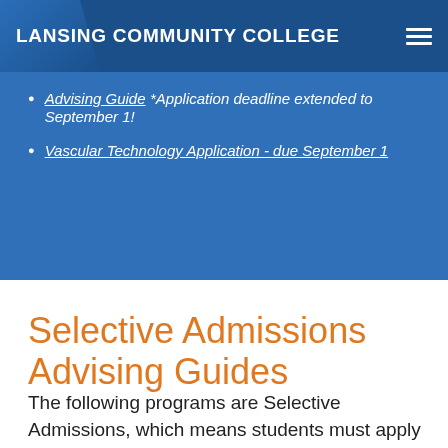LANSING COMMUNITY COLLEGE
Advising Guide  *Application deadline extended to September 1!
Vascular Technology Application - due September 1
Selective Admissions Advising Guides
The following programs are Selective Admissions, which means students must apply and compete for admission. Program-specific entrance requirements must be completed to be eligible